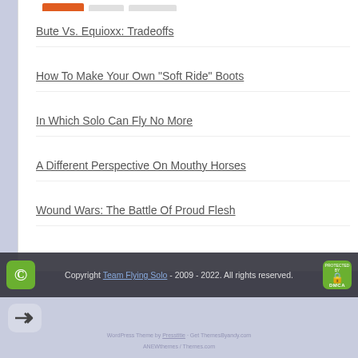Bute Vs. Equioxx: Tradeoffs
How To Make Your Own "Soft Ride" Boots
In Which Solo Can Fly No More
A Different Perspective On Mouthy Horses
Wound Wars: The Battle Of Proud Flesh
Copyright Team Flying Solo - 2009 - 2022. All rights reserved.